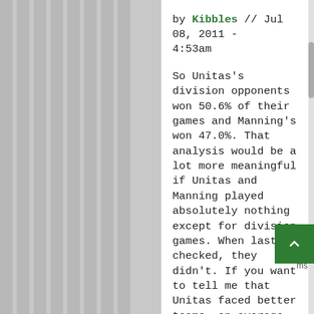by Kibbles // Jul 08, 2011 - 4:53am
So Unitas's division opponents won 50.6% of their games and Manning's won 47.0%. That analysis would be a lot more meaningful if Unitas and Manning played absolutely nothing except for division games. When last I checked, they didn't. If you want to tell me that Unitas faced better teams, on average, than Peyton Manning, then by all means be my